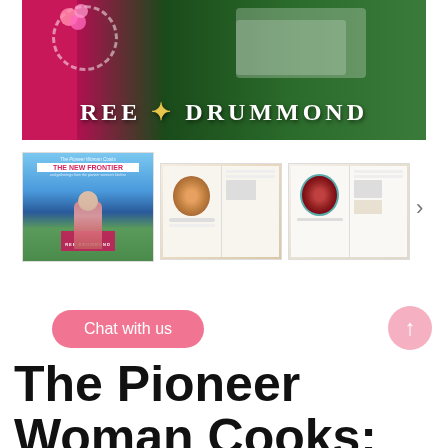[Figure (photo): Hero banner image showing Ree Drummond cookbook promotional banner with pink background on left, green grass on right, flowers, food platters, and 'REE DRUMMOND' text overlay in white with gold star]
[Figure (photo): Thumbnail of book cover: The Pioneer Woman Cooks: The New Frontier by Ree Drummond, blue sky background]
[Figure (photo): Thumbnail of open cookbook spread showing a bowl of food with guacamole/salsa]
[Figure (photo): Thumbnail of open cookbook spread showing a red soup/stew in a teal bowl]
Chat with us
The Pioneer Woman Cooks: Drummond, Ree